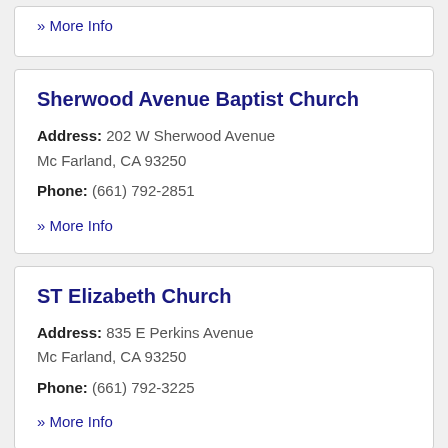» More Info
Sherwood Avenue Baptist Church
Address: 202 W Sherwood Avenue Mc Farland, CA 93250
Phone: (661) 792-2851
» More Info
ST Elizabeth Church
Address: 835 E Perkins Avenue Mc Farland, CA 93250
Phone: (661) 792-3225
» More Info